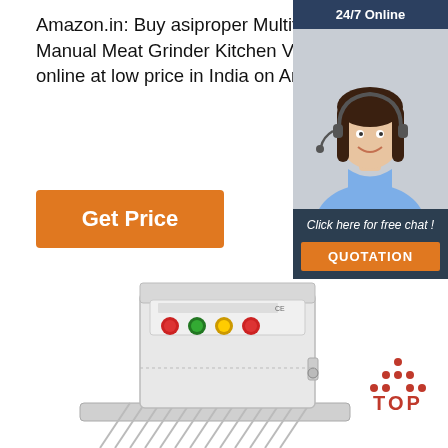Amazon.in: Buy asiproper Multifunction Garlic Cutter Chopper Manual Meat Grinder Kitchen Vegetable Fruit Twist Shredder Tool online at low price in India on Amazon.in. Free Ship... On Delivery
Get Price
[Figure (photo): Customer service representative woman with headset smiling, with '24/7 Online' banner and 'Click here for free chat! QUOTATION' call-to-action in dark blue sidebar]
[Figure (photo): Industrial spiral dough mixer machine in white/grey color with red, green and yellow control buttons]
[Figure (logo): TOP logo with orange/red dots arranged in triangle above the word TOP in red]